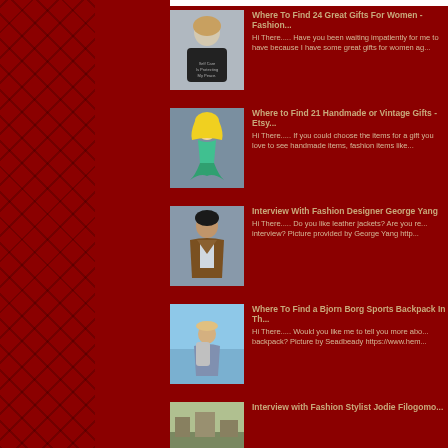Where To Find 24 Great Gifts For Women - Fashion... Hi There..... Have you been waiting impatiently for me to have because I have some great gifts for women ag...
Where to Find 21 Handmade or Vintage Gifts - Etsy... Hi There..... If you could choose the items for a gift you love to see handmade items, fashion items like...
Interview With Fashion Designer George Yang Hi There..... Do you like leather jackets? Are you re... interview?  Picture provided by  George Yang   http...
Where To Find a Bjorn Borg Sports Backpack In Th... Hi There..... Would you like me to tell you more abo... backpack? Picture by Seadbeady https://www.hem...
Interview with Fashion Stylist Jodie Filogomo...